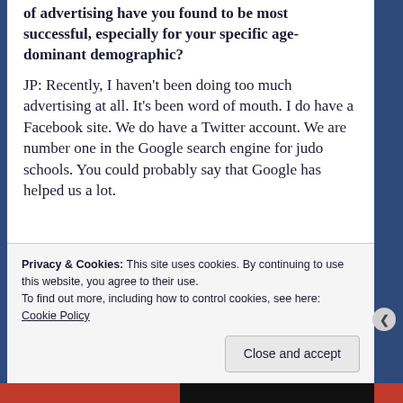of advertising have you found to be most successful, especially for your specific age-dominant demographic?
JP: Recently, I haven't been doing too much advertising at all. It's been word of mouth. I do have a Facebook site. We do have a Twitter account. We are number one in the Google search engine for judo schools. You could probably say that Google has helped us a lot.
Privacy & Cookies: This site uses cookies. By continuing to use this website, you agree to their use.
To find out more, including how to control cookies, see here: Cookie Policy
Close and accept